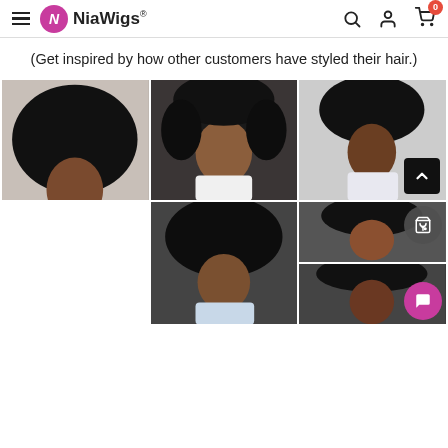NiaWigs®
(Get inspired by how other customers have styled their hair.)
[Figure (photo): Grid of 5 photos showing women with curly/afro wigs styled in various ways, from the NiaWigs website customer gallery]